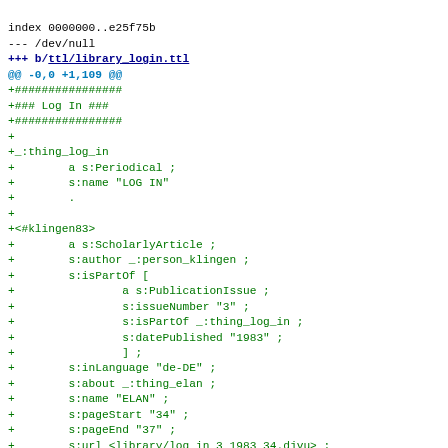index 0000000..e25f75b
--- /dev/null
+++ b/ttl/library_login.ttl
@@ -0,0 +1,109 @@
+################
+### Log In ###
+################
+
+_:thing_log_in
+        a s:Periodical ;
+        s:name "LOG IN"
+        .
+
+<#klingen83>
+        a s:ScholarlyArticle ;
+        s:author _:person_klingen ;
+        s:isPartOf [
+                a s:PublicationIssue ;
+                s:issueNumber "3" ;
+                s:isPartOf _:thing_log_in ;
+                s:datePublished "1983" ;
+                ] ;
+        s:inLanguage "de-DE" ;
+        s:about _:thing_elan ;
+        s:name "ELAN" ;
+        s:pageStart "34" ;
+        s:pageEnd "37" ;
+        s:url <library/log_in_3_1983_34.djvu> ;
+        .
+